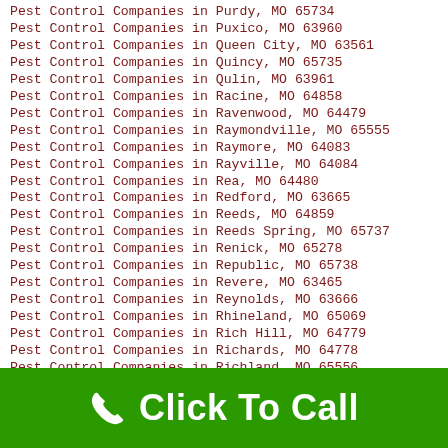Pest Control Companies in Purdy, MO 65734
Pest Control Companies in Puxico, MO 63960
Pest Control Companies in Queen City, MO 63561
Pest Control Companies in Quincy, MO 65735
Pest Control Companies in Qulin, MO 63961
Pest Control Companies in Racine, MO 64858
Pest Control Companies in Ravenwood, MO 64479
Pest Control Companies in Raymondville, MO 65555
Pest Control Companies in Raymore, MO 64083
Pest Control Companies in Rayville, MO 64084
Pest Control Companies in Rea, MO 64480
Pest Control Companies in Redford, MO 63665
Pest Control Companies in Reeds, MO 64859
Pest Control Companies in Reeds Spring, MO 65737
Pest Control Companies in Renick, MO 65278
Pest Control Companies in Republic, MO 65738
Pest Control Companies in Revere, MO 63465
Pest Control Companies in Reynolds, MO 63666
Pest Control Companies in Rhineland, MO 65069
Pest Control Companies in Rich Hill, MO 64779
Pest Control Companies in Richards, MO 64778
Pest Control Companies in Richland, MO 65556
Pest Control Companies in Richmond, MO 64085
Pest Control Companies in Richwoods, MO 63071
Pest Control Companies in Ridgedale, MO 65739
Pest Control Companies in Ridgeway, MO 64481
Pest Control Companies in Risco, MO 63874
Pest Control Companies in Riverside, MO 64150
[Figure (infographic): Green banner with phone icon and white bold text 'Click To Call']